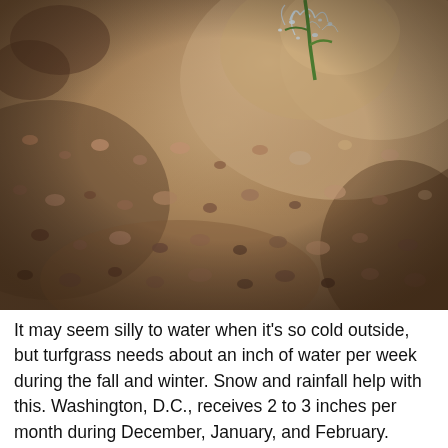[Figure (photo): Close-up macro photograph of dry sandy soil with water droplets splashing, and a small green grass shoot visible in the upper portion. The soil has a rough, granular texture with pebbles and dark organic matter. Sunlight creates shadows across the textured surface.]
It may seem silly to water when it's so cold outside, but turfgrass needs about an inch of water per week during the fall and winter. Snow and rainfall help with this. Washington, D.C., receives 2 to 3 inches per month during December, January, and February.